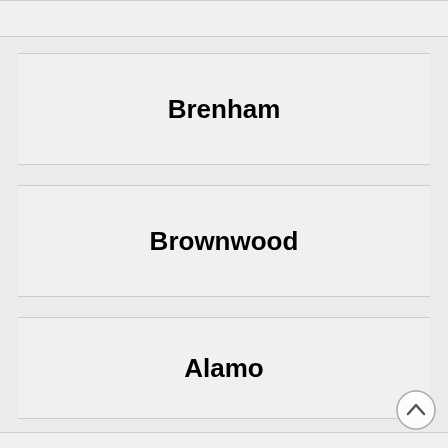Brenham
Brownwood
Alamo
Grapevine